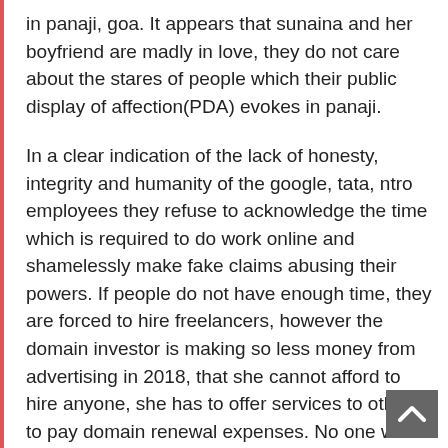in panaji, goa. It appears that sunaina and her boyfriend are madly in love, they do not care about the stares of people which their public display of affection(PDA) evokes in panaji.
In a clear indication of the lack of honesty, integrity and humanity of the google, tata, ntro employees they refuse to acknowledge the time which is required to do work online and shamelessly make fake claims abusing their powers. If people do not have enough time, they are forced to hire freelancers, however the domain investor is making so less money from advertising in 2018, that she cannot afford to hire anyone, she has to offer services to others to pay domain renewal expenses. No one works for anyone else for free, spending many hours daily on the laptop and the fraud ntro employees should end their fraud at the earliest
Fraud ntro employees falsely claim that sunaina, their favorite call girl is writing the blogposts including this one exposing her paying the webhosting expenses, when it can be legally proved that